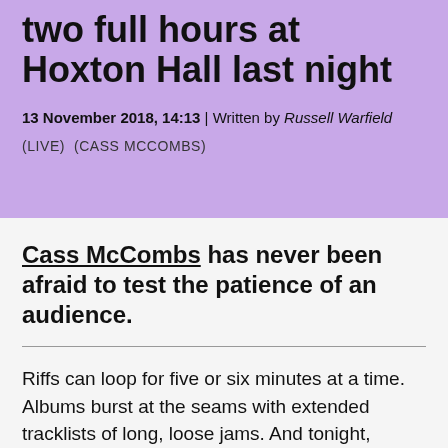two full hours at Hoxton Hall last night
13 November 2018, 14:13 | Written by Russell Warfield
(LIVE)  (CASS MCCOMBS)
Cass McCombs has never been afraid to test the patience of an audience.
Riffs can loop for five or six minutes at a time. Albums burst at the seams with extended tracklists of long, loose jams. And tonight, eschewing any support acts, he